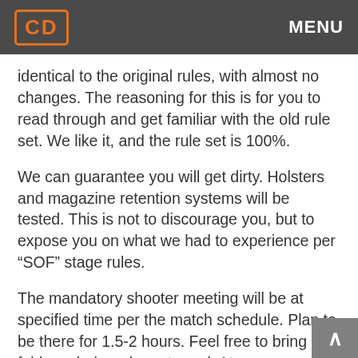CD  MENU
identical to the original rules, with almost no changes. The reasoning for this is for you to read through and get familiar with the old rule set. We like it, and the rule set is 100%.
We can guarantee you will get dirty. Holsters and magazine retention systems will be tested. This is not to discourage you, but to expose you on what we had to experience per “SOF” stage rules.
The mandatory shooter meeting will be at specified time per the match schedule. Plan to be there for 1.5-2 hours. Feel free to bring a fold up chair and a note pad. At